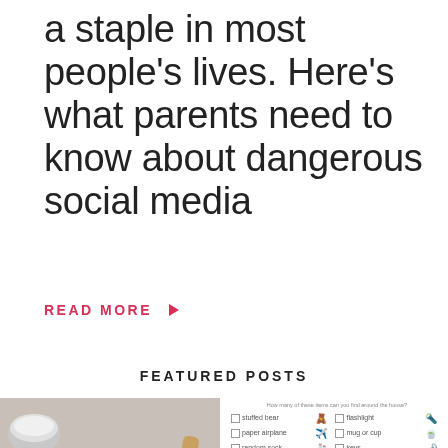a staple in most people's lives. Here's what parents need to know about dangerous social media
READ MORE ▶
FEATURED POSTS
[Figure (photo): Overhead photo of a wooden bowl filled with dark coffee grounds or spices, a small metal salt bowl, wooden cutting board, with salt/sugar scattered on surface]
[Figure (other): Checklist of items: stuffed bear, flashlight, paper airplane, mug or cup, random sock, keys, sunglasses, alarm clock, book, measuring tape, crayon (faded), salt of any sort (faded), toy truck (faded), wind (faded)]